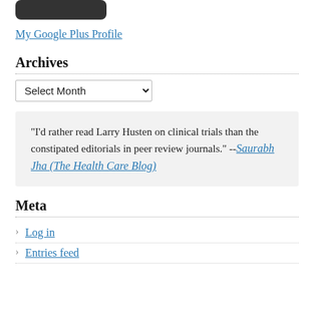[Figure (other): Partial dark rounded rectangle (cropped logo/image at top)]
My Google Plus Profile
Archives
Select Month (dropdown)
"I'd rather read Larry Husten on clinical trials than the constipated editorials in peer review journals." --Saurabh Jha (The Health Care Blog)
Meta
Log in
Entries feed